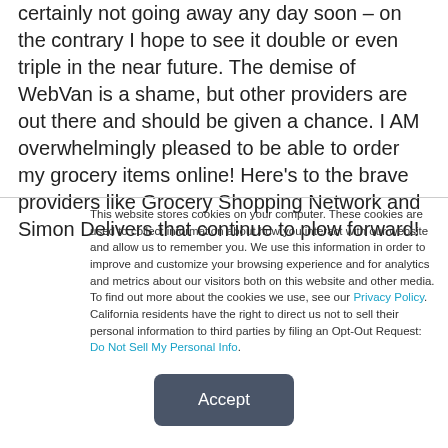certainly not going away any day soon – on the contrary I hope to see it double or even triple in the near future. The demise of WebVan is a shame, but other providers are out there and should be given a chance. I AM overwhelmingly pleased to be able to order my grocery items online! Here's to the brave providers like Grocery Shopping Network and Simon Delivers that continue to plow forward!
This website stores cookies on your computer. These cookies are used to collect information about how you interact with our website and allow us to remember you. We use this information in order to improve and customize your browsing experience and for analytics and metrics about our visitors both on this website and other media. To find out more about the cookies we use, see our Privacy Policy. California residents have the right to direct us not to sell their personal information to third parties by filing an Opt-Out Request: Do Not Sell My Personal Info.